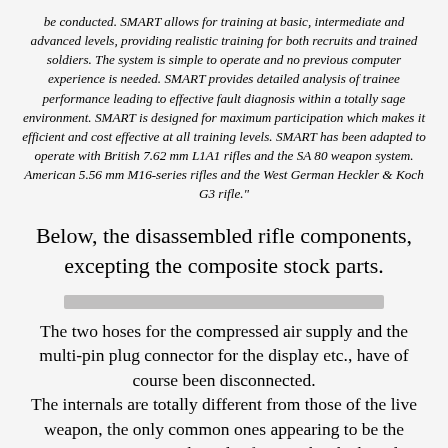be conducted. SMART allows for training at basic, intermediate and advanced levels, providing realistic training for both recruits and trained soldiers. The system is simple to operate and no previous computer experience is needed. SMART provides detailed analysis of trainee performance leading to effective fault diagnosis within a totally sage environment. SMART is designed for maximum participation which makes it efficient and cost effective at all training levels. SMART has been adapted to operate with British 7.62 mm L1A1 rifles and the SA 80 weapon system. American 5.56 mm M16-series rifles and the West German Heckler & Koch G3 rifle."
Below, the disassembled rifle components, excepting the composite stock parts.
[Figure (other): Redacted/blurred horizontal bar representing a censored image of disassembled rifle components]
The two hoses for the compressed air supply and the multi-pin plug connector for the display etc., have of course been disconnected. The internals are totally different from those of the live weapon, the only common ones appearing to be the trigger, magazine catch, and safety catch. The barrel is